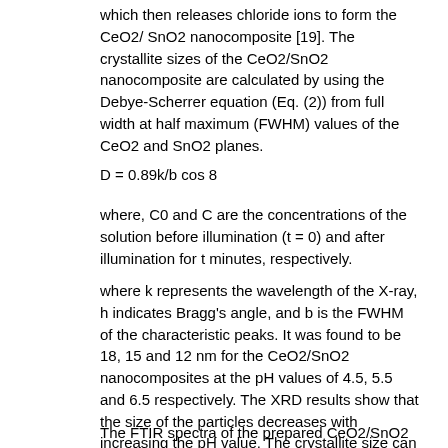which then releases chloride ions to form the CeO2/SnO2 nanocomposite [19]. The crystallite sizes of the CeO2/SnO2 nanocomposite are calculated by using the Debye-Scherrer equation (Eq. (2)) from full width at half maximum (FWHM) values of the CeO2 and SnO2 planes.
where, C0 and C are the concentrations of the solution before illumination (t = 0) and after illumination for t minutes, respectively.
where k represents the wavelength of the X-ray, h indicates Bragg's angle, and b is the FWHM of the characteristic peaks. It was found to be 18, 15 and 12 nm for the CeO2/SnO2 nanocomposites at the pH values of 4.5, 5.5 and 6.5 respectively. The XRD results show that the size of the particles decreases with increasing the pH value. The crystallite size can be controlled by varying the pH, as reported by previous literatures [20-23].
The FTIR spectra of the prepared CeO2/SnO2 nanocomposites at three different pH values are